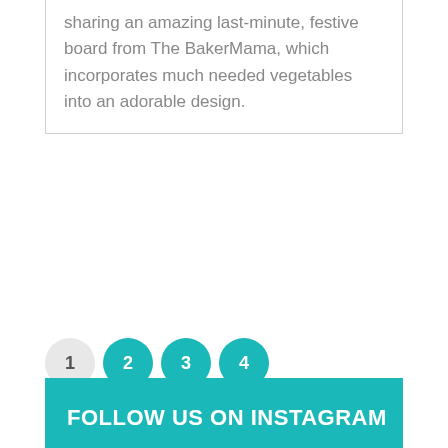sharing an amazing last-minute, festive board from The BakerMama, which incorporates much needed vegetables into an adorable design.
[Figure (other): Pagination controls showing page buttons: 1 (inactive/grey), 2, 3, 4 (active/teal)]
FOLLOW US ON INSTAGRAM